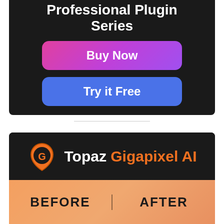Professional Plugin Series
Buy Now
Try it Free
[Figure (logo): Topaz Gigapixel AI logo with orange G icon and text, followed by a Before/After comparison bar]
BEFORE
AFTER